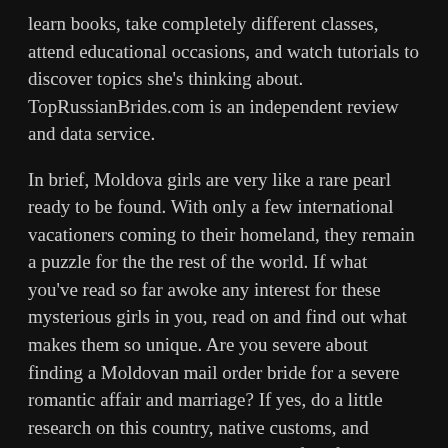learn books, take completely different classes, attend educational occasions, and watch tutorials to discover topics she's thinking about. TopRussianBrides.com is an independent review and data service.
In brief, Moldova girls are very like a rare pearl ready to be found. With only a few international vacationers coming to their homeland, they remain a puzzle for the the rest of the world. If what you've read so far awoke any interest for these mysterious girls in you, read on and find out what makes them so unique. Are you severe about finding a Moldovan mail order bride for a severe romantic affair and marriage? If yes, do a little research on this country, native customs, and values. Get convinced this space is ful of alluring cuties dreaming about marrying a foreign guy such as you. To meet beautiful Moldovan girls keep reading this article.
To come across fit Moldovan girls...